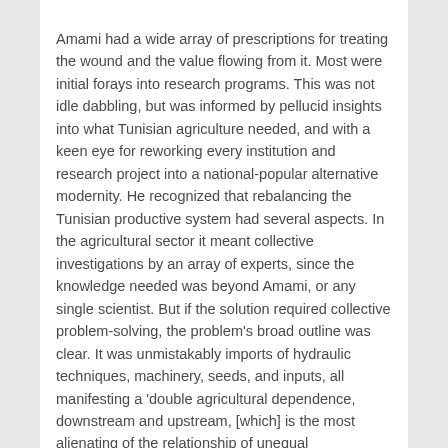Amami had a wide array of prescriptions for treating the wound and the value flowing from it. Most were initial forays into research programs. This was not idle dabbling, but was informed by pellucid insights into what Tunisian agriculture needed, and with a keen eye for reworking every institution and research project into a national-popular alternative modernity. He recognized that rebalancing the Tunisian productive system had several aspects. In the agricultural sector it meant collective investigations by an array of experts, since the knowledge needed was beyond Amami, or any single scientist. But if the solution required collective problem-solving, the problem's broad outline was clear. It was unmistakably imports of hydraulic techniques, machinery, seeds, and inputs, all manifesting a 'double agricultural dependence, downstream and upstream, [which] is the most alienating of the relationship of unequal development between the affluent countries and the underdeveloped countries of Amami's time.